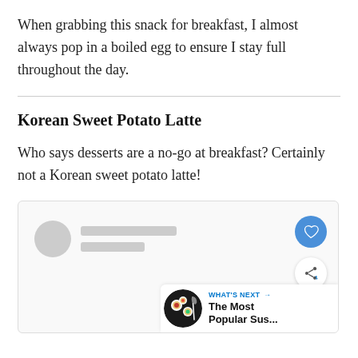When grabbing this snack for breakfast, I almost always pop in a boiled egg to ensure I stay full throughout the day.
Korean Sweet Potato Latte
Who says desserts are a no-go at breakfast? Certainly not a Korean sweet potato latte!
[Figure (screenshot): A social media post card with a blurred/placeholder user avatar and name lines on the left, a blue heart/like button and a share button on the right, and a 'WHAT'S NEXT' banner in the bottom-right corner showing 'The Most Popular Sus...' with a food image thumbnail.]